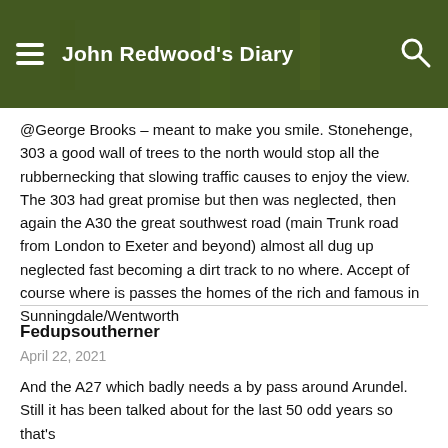John Redwood's Diary
@George Brooks – meant to make you smile. Stonehenge, 303 a good wall of trees to the north would stop all the rubbernecking that slowing traffic causes to enjoy the view. The 303 had great promise but then was neglected, then again the A30 the great southwest road (main Trunk road from London to Exeter and beyond) almost all dug up neglected fast becoming a dirt track to no where. Accept of course where is passes the homes of the rich and famous in Sunningdale/Wentworth
Fedupsoutherner
April 22, 2021
And the A27 which badly needs a by pass around Arundel. Still it has been talked about for the last 50 odd years so that's